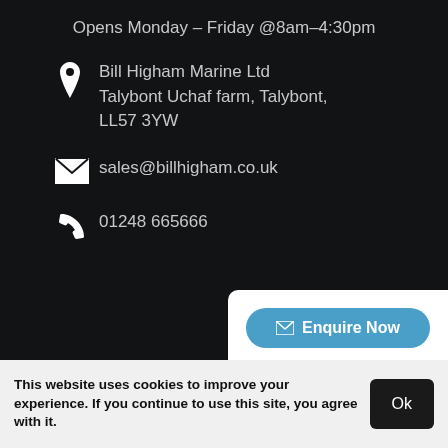Opens Monday – Friday @8am–4:30pm
Bill Higham Marine Ltd
Talybont Uchaf farm, Talybont,
LL57 3YW
sales@billhigham.co.uk
01248 665666
[Figure (screenshot): Popup contact card with 'Enquire Now' blue button and phone number 01248 665666 in blue]
This website uses cookies to improve your experience. If you continue to use this site, you agree with it.